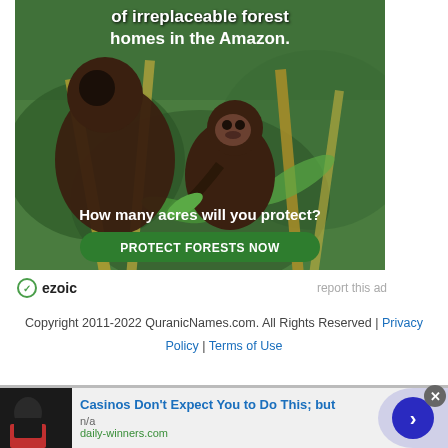[Figure (photo): Advertisement banner showing monkeys (capuchins) in the Amazon forest with text 'of irreplaceable forest homes in the Amazon.' and 'How many acres will you protect?' with a green 'PROTECT FORESTS NOW' button]
ezoic   report this ad
Copyright 2011-2022 QuranicNames.com. All Rights Reserved | Privacy Policy | Terms of Use
[Figure (photo): Bottom ad banner: image of person with backpack, text 'Casinos Don't Expect You to Do This; but', 'n/a', 'daily-winners.com', with arrow button and close button]